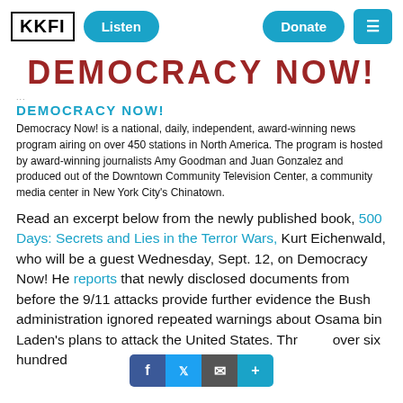KKFI | Listen | Donate | Menu
DEMOCRACY NOW!
DEMOCRACY NOW!
Democracy Now! is a national, daily, independent, award-winning news program airing on over 450 stations in North America. The program is hosted by award-winning journalists Amy Goodman and Juan Gonzalez and produced out of the Downtown Community Television Center, a community media center in New York City's Chinatown.
Read an excerpt below from the newly published book, 500 Days: Secrets and Lies in the Terror Wars, Kurt Eichenwald, who will be a guest Wednesday, Sept. 12, on Democracy Now! He reports that newly disclosed documents from before the 9/11 attacks provide further evidence the Bush administration ignored repeated warnings about Osama bin Laden's plans to attack the United States. Through over six hundred